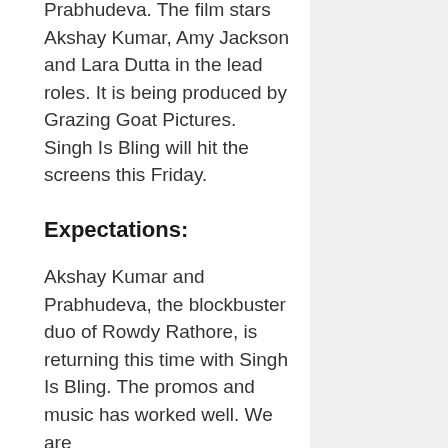Prabhudeva. The film stars Akshay Kumar, Amy Jackson and Lara Dutta in the lead roles. It is being produced by Grazing Goat Pictures. Singh Is Bling will hit the screens this Friday.
Expectations:
Akshay Kumar and Prabhudeva, the blockbuster duo of Rowdy Rathore, is returning this time with Singh Is Bling. The promos and music has worked well. We are